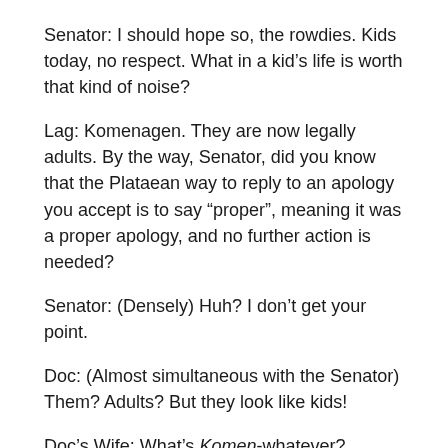Senator: I should hope so, the rowdies. Kids today, no respect. What in a kid's life is worth that kind of noise?
Lag: Komenagen. They are now legally adults. By the way, Senator, did you know that the Plataean way to reply to an apology you accept is to say “proper”, meaning it was a proper apology, and no further action is needed?
Senator: (Densely) Huh? I don’t get your point.
Doc: (Almost simultaneous with the Senator) Them? Adults? But they look like kids!
Doc’s Wife: What’s Komen-whatever?
Lag: Komenagen. Plataean coming-of-age trial. Legal adulthood and voting rights are earned there and have no specific age. Some earn it by military service-